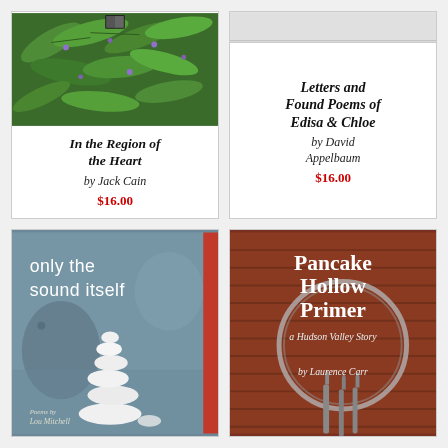[Figure (photo): Book cover: 'In the Region of the Heart' by Jack Cain - green fern/leaf plants with purple flowers, with bold italic title and author, price $16.00]
[Figure (photo): Book cover: 'Letters and Found Poems of Edisa & Chloe' by David Appelbaum - white/light background with serif bold italic title, author italic, price $16.00]
[Figure (photo): Book cover: 'only the sound itself' by Lou Mitchell - blue-gray textured background with red spine strip, white stacked rounded stones illustration, white text title]
[Figure (photo): Book cover: 'Pancake Hollow Primer: a Hudson Valley Story' by Laurence Carr - red barn wood background with circular metal tool, white serif title text]